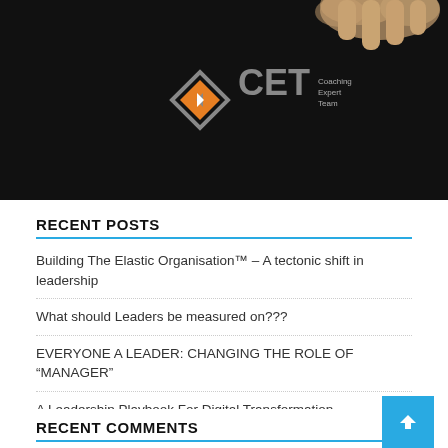[Figure (logo): CET Coaching Expert Team logo on black background with a hand visible at top]
RECENT POSTS
Building The Elastic Organisation™ – A tectonic shift in leadership
What should Leaders be measured on???
EVERYONE A LEADER: CHANGING THE ROLE OF "MANAGER"
A Leadership Playbook For Digital Transformation
Leadership, It's not about titles
RECENT COMMENTS